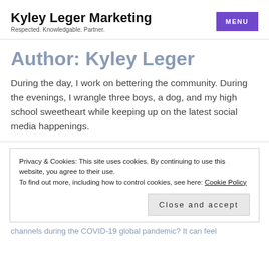Kyley Leger Marketing
Respected. Knowledgable. Partner.
Author: Kyley Leger
During the day, I work on bettering the community. During the evenings, I wrangle three boys, a dog, and my high school sweetheart while keeping up on the latest social media happenings.
Privacy & Cookies: This site uses cookies. By continuing to use this website, you agree to their use.
To find out more, including how to control cookies, see here: Cookie Policy
channels during the COVID-19 global pandemic? It can feel